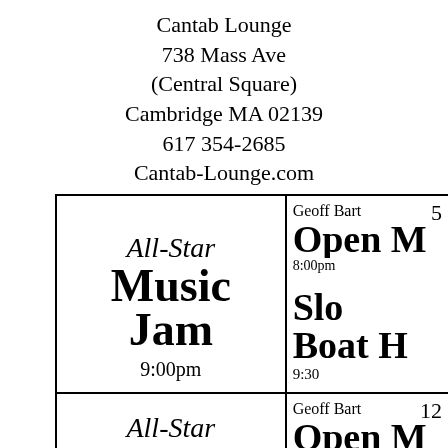Cantab Lounge
738 Mass Ave
(Central Square)
Cambridge MA 02139
617 354-2685
Cantab-Lounge.com
| All-Star Music Jam 9:00pm | 5 | Geoff Bart Open M 8:00pm
Slo Boat H 9:30 |
| All-Star Music | 12 | Geoff Bart Open M 8:00pm |